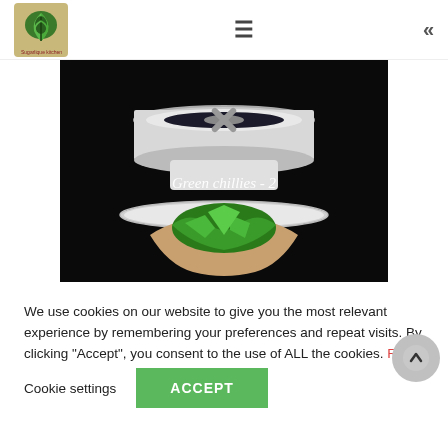Sugarlique Kitchen [logo] [hamburger menu] [chevron left]
[Figure (photo): Video still of a blender/food processor bowl with green herb leaves being placed inside. Text overlay reads 'Green chillies - 2' in cursive white font on a dark background.]
We use cookies on our website to give you the most relevant experience by remembering your preferences and repeat visits. By clicking "Accept", you consent to the use of ALL the cookies. Read More
Cookie settings   ACCEPT